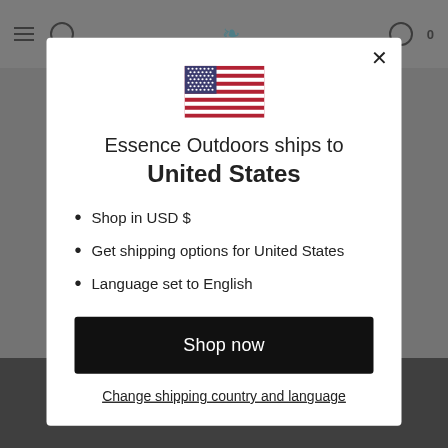[Figure (screenshot): A modal dialog on a website showing a US flag, shipping destination info, bullet points, and action buttons. Background shows a partially visible e-commerce page header and dark footer.]
Essence Outdoors ships to
United States
Shop in USD $
Get shipping options for United States
Language set to English
Shop now
Change shipping country and language